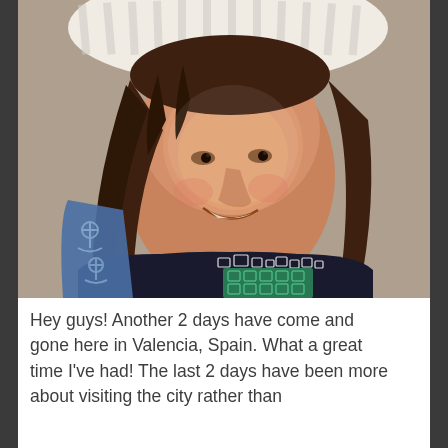[Figure (photo): A selfie of a smiling young woman with long brown hair, wearing a black t-shirt with graphic print designs including green patterns, and a white striped hat. A blue bag with anchor designs is visible on the left side.]
Hey guys! Another 2 days have come and gone here in Valencia, Spain. What a great time I've had! The last 2 days have been more about visiting the city rather than